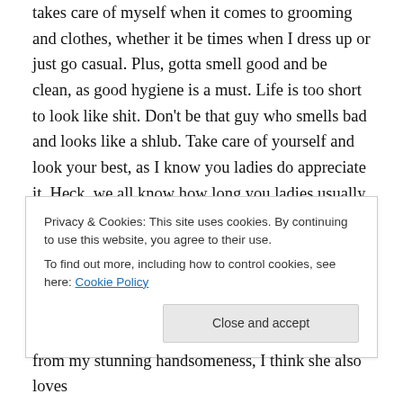takes care of myself when it comes to grooming and clothes, whether it be times when I dress up or just go casual. Plus, gotta smell good and be clean, as good hygiene is a must. Life is too short to look like shit. Don't be that guy who smells bad and looks like a shlub. Take care of yourself and look your best, as I know you ladies do appreciate it. Heck, we all know how long you ladies usually take to get ready and look good for us, it's the least we can do.
Don: There's very little argument that I married up and my wife deserves the best and I want to be the finest thing in...
Privacy & Cookies: This site uses cookies. By continuing to use this website, you agree to their use. To find out more, including how to control cookies, see here: Cookie Policy
Close and accept
from my stunning handsomeness, I think she also loves